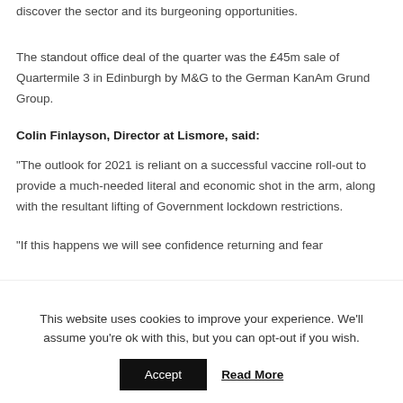discover the sector and its burgeoning opportunities.
The standout office deal of the quarter was the £45m sale of Quartermile 3 in Edinburgh by M&G to the German KanAm Grund Group.
Colin Finlayson, Director at Lismore, said:
"The outlook for 2021 is reliant on a successful vaccine roll-out to provide a much-needed literal and economic shot in the arm, along with the resultant lifting of Government lockdown restrictions.
"If this happens we will see confidence returning and fear
This website uses cookies to improve your experience. We'll assume you're ok with this, but you can opt-out if you wish.